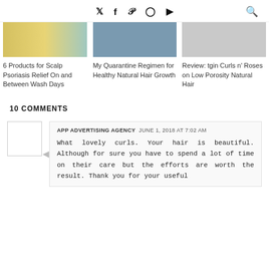Twitter Facebook Pinterest Instagram YouTube [search]
[Figure (photo): Three blog post thumbnail images in a row: a yellow/teal room interior, a person in a blue shirt, and a flat-lay with pink items]
6 Products for Scalp Psoriasis Relief On and Between Wash Days
My Quarantine Regimen for Healthy Natural Hair Growth
Review: tgin Curls n' Roses on Low Porosity Natural Hair
10 COMMENTS
APP ADVERTISING AGENCY  JUNE 1, 2018 AT 7:02 AM
What lovely curls. Your hair is beautiful. Although for sure you have to spend a lot of time on their care but the efforts are worth the result. Thank you for your useful